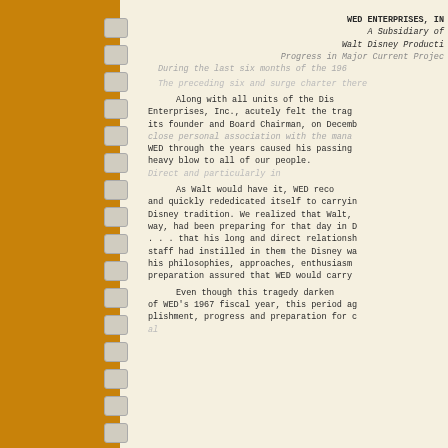WED ENTERPRISES, INC.
A Subsidiary of
Walt Disney Productions
Progress in Major Current Projects
During the last six months of the 1967
Along with all units of the Disney organization, WED Enterprises, Inc., acutely felt the tragic loss of Walt Disney, its founder and Board Chairman, on December 15, 1966. His close personal association with the management and staff of WED through the years caused his passing to strike as a heavy blow to all of our people.

As Walt would have it, WED recovered from this loss and quickly rededicated itself to carrying on the Walt Disney tradition. We realized that Walt, characteristically way, had been preparing for that day in Disney fashion . . . that his long and direct relationship with the WED staff had instilled in them the Disney way of thinking, his philosophies, approaches, enthusiasm and preparation assured that WED would carry on.

Even though this tragedy darkened the early months of WED's 1967 fiscal year, this period again was one of accomplishment, progress and preparation for coming challenges of the Disney organization.